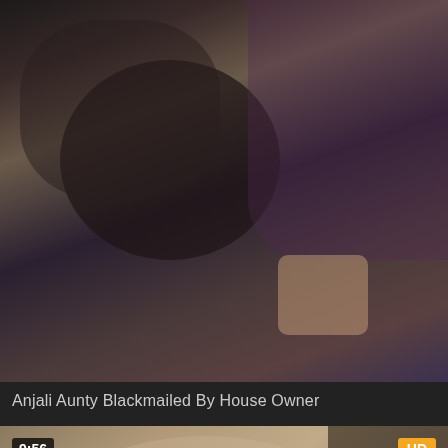[Figure (screenshot): Video thumbnail screenshot showing two people in close proximity, dark curly hair visible, purple fabric in background]
Anjali Aunty Blackmailed By House Owner
[Figure (screenshot): Video thumbnail screenshot showing a person, 9:56 time badge, HD badge, orange up-arrow button, and a Brazzers popup advertisement overlay]
9:56
HD
Brazzers
Only 2$ To Watch